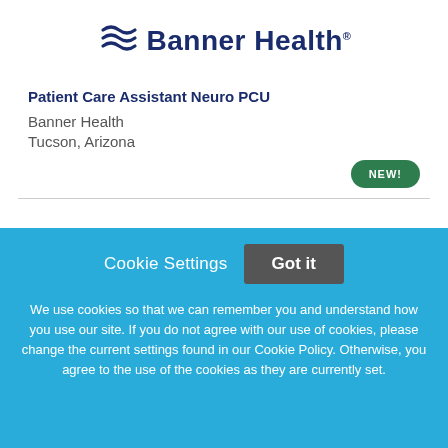[Figure (logo): Banner Health logo with wave/flag icon and text 'Banner Health']
Patient Care Assistant Neuro PCU
Banner Health
Tucson, Arizona
NEW!
Cookie Settings  Got it
We use cookies so that we can remember you and understand how you use our site. If you do not agree with our use of cookies, please change the current settings found in our Cookie Policy. Otherwise, you agree to the use of the cookies as they are currently set.